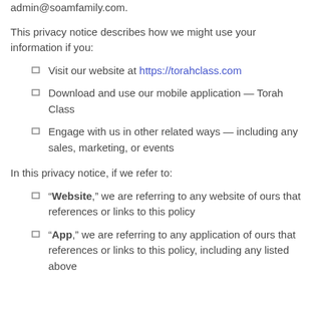admin@soamfamily.com.
This privacy notice describes how we might use your information if you:
Visit our website at https://torahclass.com
Download and use our mobile application — Torah Class
Engage with us in other related ways — including any sales, marketing, or events
In this privacy notice, if we refer to:
“Website,” we are referring to any website of ours that references or links to this policy
“App,” we are referring to any application of ours that references or links to this policy, including any listed above